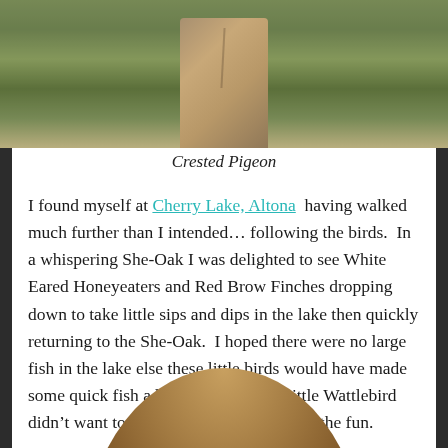[Figure (photo): Photo of a Crested Pigeon perched on top of a weathered wooden post, with green grassy background]
Crested Pigeon
I found myself at Cherry Lake, Altona having walked much further than I intended... following the birds. In a whispering She-Oak I was delighted to see White Eared Honeyeaters and Red Brow Finches dropping down to take little sips and dips in the lake then quickly returning to the She-Oak. I hoped there were no large fish in the lake else these little birds would have made some quick fish a bitesized meal! A Little Wattlebird didn't want to miss out so he soon joined the fun.
[Figure (photo): Partial circular photo visible at bottom of page, showing a brown wooden or bark texture]